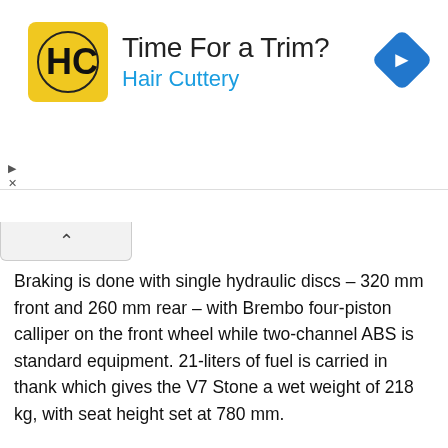[Figure (advertisement): Hair Cuttery advertisement banner with yellow logo, 'Time For a Trim?' heading, 'Hair Cuttery' in blue, and a blue navigation arrow icon on the right]
Braking is done with single hydraulic discs – 320 mm front and 260 mm rear – with Brembo four-piston calliper on the front wheel while two-channel ABS is standard equipment. 21-liters of fuel is carried in thank which gives the V7 Stone a wet weight of 218 kg, with seat height set at 780 mm.
Inside the cockpit a single round gauge with LCD display shows all the necessary information the rider needs. In terms of styling, the V7 Stone retains the overall silhouette in terms of its traditional design but some components have been changed. These include the side panels, shorter rear fender, exhaust as well as the use of full LED lighting throughout.